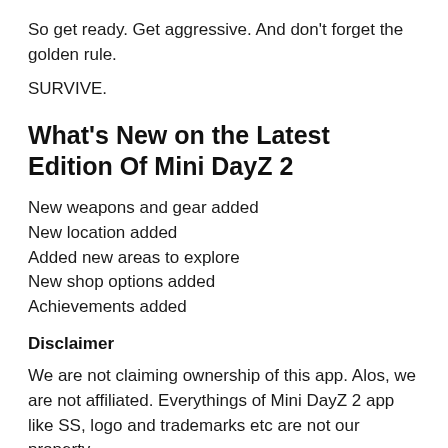So get ready. Get aggressive. And don't forget the golden rule.
SURVIVE.
What's New on the Latest Edition Of Mini DayZ 2
New weapons and gear added
New location added
Added new areas to explore
New shop options added
Achievements added
Disclaimer
We are not claiming ownership of this app. Alos, we are not affiliated. Everythings of Mini DayZ 2 app like SS, logo and trademarks etc are not our property
We are not offering any downloads of Mini DayZ 2 app. Here